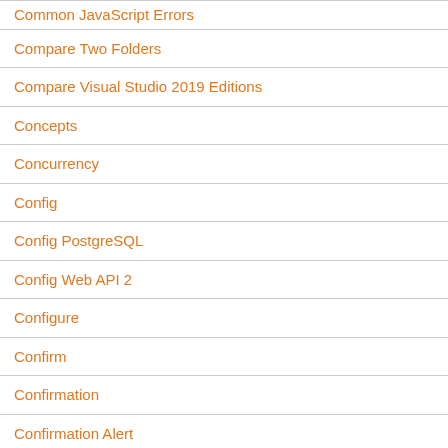Common JavaScript Errors
Compare Two Folders
Compare Visual Studio 2019 Editions
Concepts
Concurrency
Config
Config PostgreSQL
Config Web API 2
Configure
Confirm
Confirmation
Confirmation Alert
Cộng Đồng Coder
Công Nghệ
Công Thức Tự Xem Biển Số Xe Hợp Phong Thủy Và Mệnh